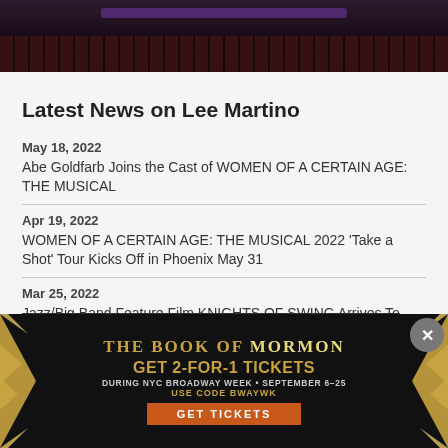[Figure (photo): Dark theater interior with stage lighting and red seats visible in the background]
Latest News on Lee Martino
May 18, 2022
Abe Goldfarb Joins the Cast of WOMEN OF A CERTAIN AGE: THE MUSICAL
Apr 19, 2022
WOMEN OF A CERTAIN AGE: THE MUSICAL 2022 'Take a Shot' Tour Kicks Off in Phoenix May 31
Mar 25, 2022
Jazz/Big Band Feature Film KNIGHTS OF SWING Arrives To
[Figure (screenshot): Advertisement for The Book of Mormon musical. GET 2-FOR-1 TICKETS DURING NYC BROADWAY WEEK · SEPTEMBER 6–25. USE CODE BWAYWK. GET TICKETS button. Gold starburst border design on black background.]